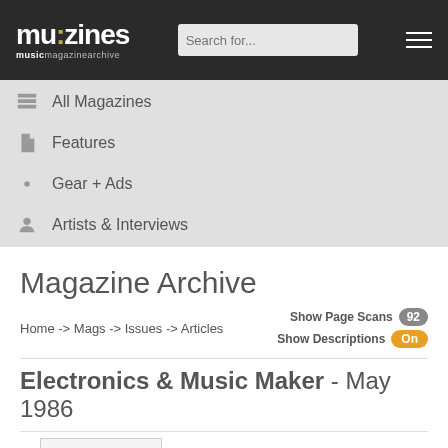mu:zines musicmagazinearchive — Search for...
All Magazines
Features
Gear + Ads
Artists & Interviews
Magazine Archive
Home -> Mags -> Issues -> Articles    Show Page Scans 92    Show Descriptions On
Electronics & Music Maker - May 1986